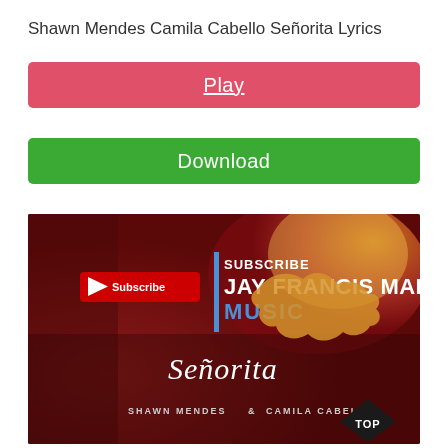Shawn Mendes Camila Cabello Señorita Lyrics
Play
Download
[Figure (screenshot): YouTube thumbnail for Jay Francis Maligaya Music channel showing 'Señorita' by Shawn Mendes & Camila Cabello with Subscribe button, golden bird silhouette on red/orange background, and TOP diamond badge in bottom right corner.]